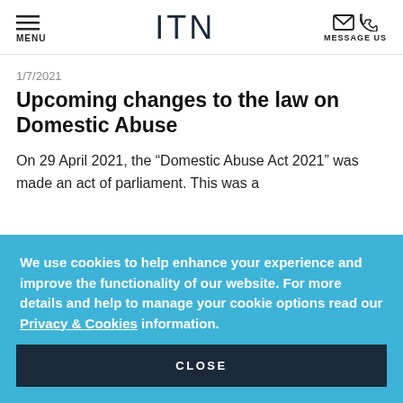MENU | ITN | MESSAGE US
1/7/2021
Upcoming changes to the law on Domestic Abuse
On 29 April 2021, the “Domestic Abuse Act 2021” was made an act of parliament. This was a
We use cookies to help enhance your experience and improve the functionality of our website. For more details and help to manage your cookie options read our Privacy & Cookies information.
CLOSE